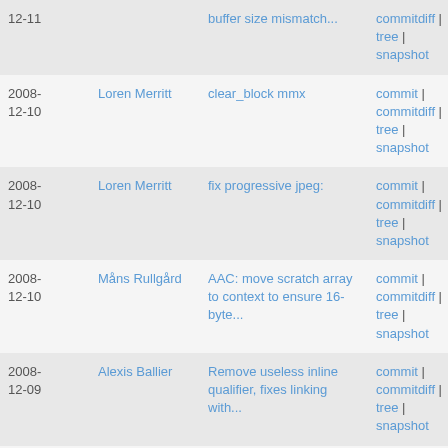| Date | Author | Commit | Links |
| --- | --- | --- | --- |
| 2008-12-11 |  | buffer size mismatch... | commitdiff | tree | snapshot |
| 2008-12-10 | Loren Merritt | clear_block mmx | commit | commitdiff | tree | snapshot |
| 2008-12-10 | Loren Merritt | fix progressive jpeg: | commit | commitdiff | tree | snapshot |
| 2008-12-10 | Måns Rullgård | AAC: move scratch array to context to ensure 16-byte... | commit | commitdiff | tree | snapshot |
| 2008-12-09 | Alexis Ballier | Remove useless inline qualifier, fixes linking with... | commit | commitdiff | tree | snapshot |
| 2008-12-09 | Alex Converse | AAC: Use a sign LUT rather than 1-2*get_bits1() | commit | commitdiff | tree | snapshot |